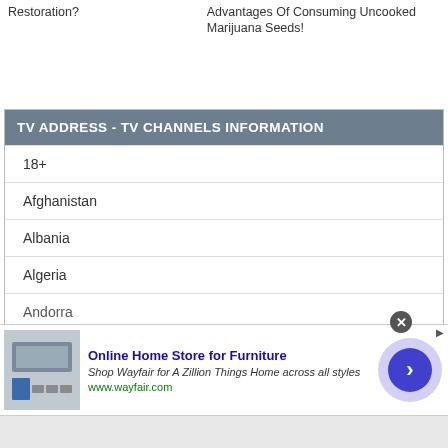Restoration?
Advantages Of Consuming Uncooked Marijuana Seeds!
TV ADDRESS - TV CHANNELS INFORMATION
18+
Afghanistan
Albania
Algeria
Andorra
[Figure (screenshot): Wayfair advertisement banner: Online Home Store for Furniture. Shop Wayfair for A Zillion Things Home across all styles. www.wayfair.com. With appliance image on left and circular arrow button on right.]